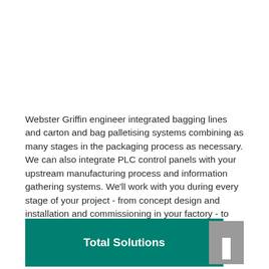Webster Griffin engineer integrated bagging lines and carton and bag palletising systems combining as many stages in the packaging process as necessary. We can also integrate PLC control panels with your upstream manufacturing process and information gathering systems. We'll work with you during every stage of your project - from concept design and installation and commissioning in your factory - to training and service and support packages.
Total Solutions
[Figure (logo): Grey square logo block with white rectangular pillar shape at bottom center]